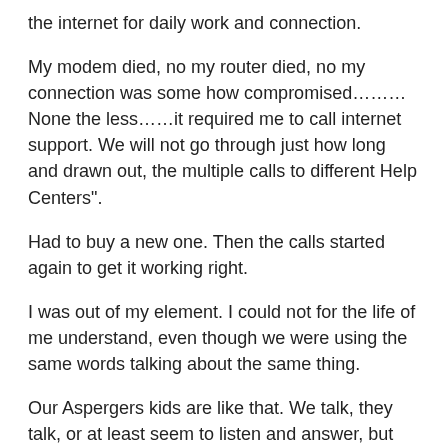the internet for daily work and connection.
My modem died, no my router died, no my connection was some how compromised………None the less……it required me to call internet support. We will not go through just how long and drawn out, the multiple calls to different Help Centers".
Had to buy a new one. Then the calls started again to get it working right.
I was out of my element. I could not for the life of me understand, even though we were using the same words talking about the same thing.
Our Aspergers kids are like that. We talk, they talk, or at least seem to listen and answer, but They just don’t “get it”